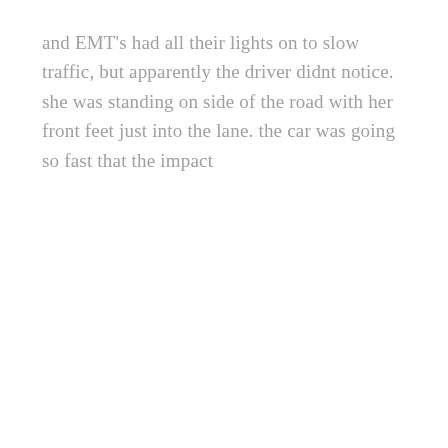and EMT's had all their lights on to slow traffic, but apparently the driver didnt notice. she was standing on side of the road with her front feet just into the lane. the car was going so fast that the impact